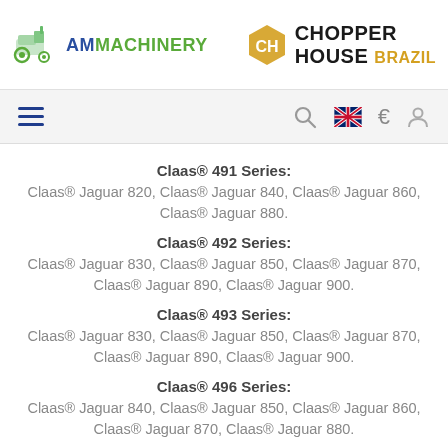[Figure (logo): AM Machinery logo with green tractor icon and green/blue text]
[Figure (logo): Chopper House Brazil logo with hexagonal CH icon and bold text]
Navigation bar with hamburger menu, search icon, UK flag, euro sign, and user icon
Claas® 491 Series:
Claas® Jaguar 820, Claas® Jaguar 840, Claas® Jaguar 860, Claas® Jaguar 880.
Claas® 492 Series:
Claas® Jaguar 830, Claas® Jaguar 850, Claas® Jaguar 870, Claas® Jaguar 890, Claas® Jaguar 900.
Claas® 493 Series:
Claas® Jaguar 830, Claas® Jaguar 850, Claas® Jaguar 870, Claas® Jaguar 890, Claas® Jaguar 900.
Claas® 496 Series:
Claas® Jaguar 840, Claas® Jaguar 850, Claas® Jaguar 860, Claas® Jaguar 870, Claas® Jaguar 880.